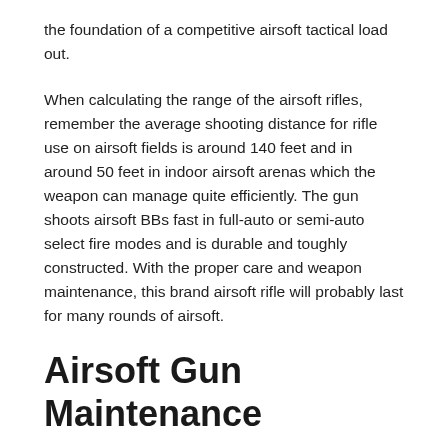the foundation of a competitive airsoft tactical load out.
When calculating the range of the airsoft rifles, remember the average shooting distance for rifle use on airsoft fields is around 140 feet and in around 50 feet in indoor airsoft arenas which the weapon can manage quite efficiently. The gun shoots airsoft BBs fast in full-auto or semi-auto select fire modes and is durable and toughly constructed. With the proper care and weapon maintenance, this brand airsoft rifle will probably last for many rounds of airsoft.
Airsoft Gun Maintenance